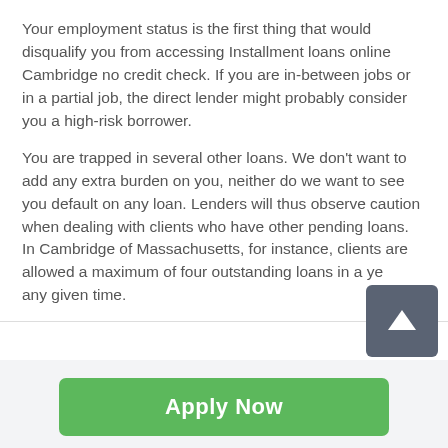Your employment status is the first thing that would disqualify you from accessing Installment loans online Cambridge no credit check. If you are in-between jobs or in a partial job, the direct lender might probably consider you a high-risk borrower.
You are trapped in several other loans. We don't want to add any extra burden on you, neither do we want to see you default on any loan. Lenders will thus observe caution when dealing with clients who have other pending loans. In Cambridge of Massachusetts, for instance, clients are allowed a maximum of four outstanding loans in a year at any given time.
Apply Now
Applying does NOT affect your credit score!
No credit check to apply.